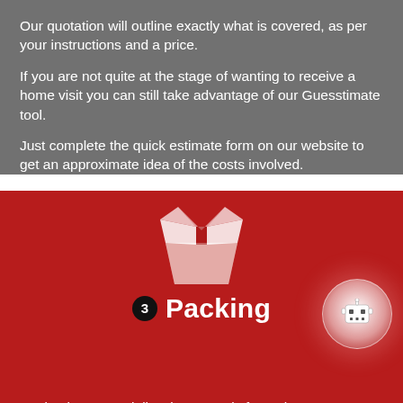Our quotation will outline exactly what is covered, as per your instructions and a price.
If you are not quite at the stage of wanting to receive a home visit you can still take advantage of our Guesstimate tool.
Just complete the quick estimate form on our website to get an approximate idea of the costs involved.
[Figure (illustration): Open cardboard box icon in white on dark red background]
3 Packing
[Figure (illustration): Robot face icon inside a glowing white circle button]
Having been specialists in removals for so long, we can assure you that there is nothing we have not moved before.